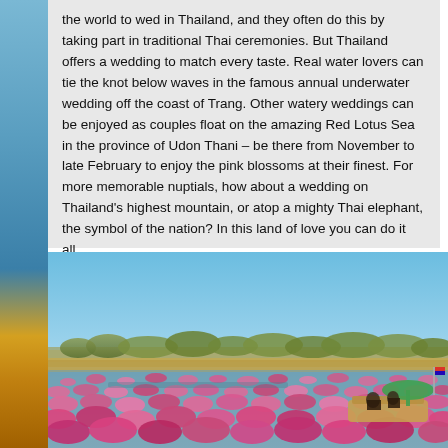the world to wed in Thailand, and they often do this by taking part in traditional Thai ceremonies. But Thailand offers a wedding to match every taste. Real water lovers can tie the knot below waves in the famous annual underwater wedding off the coast of Trang.  Other watery weddings can be enjoyed as couples float on the amazing Red Lotus Sea in the province of Udon Thani – be there from November to late February to enjoy the pink blossoms at their finest. For more memorable nuptials, how about a wedding on Thailand's highest mountain, or atop a mighty Thai elephant, the symbol of the nation? In this land of love you can do it all.
[Figure (photo): Photograph of the Red Lotus Sea in Udon Thani, Thailand. Wide view showing a vast field of pink lotus flowers blooming on water in the foreground, with a flat landscape and trees in the middle ground, and a clear blue sky above. A boat with passengers and a green umbrella is visible on the right side of the image.]